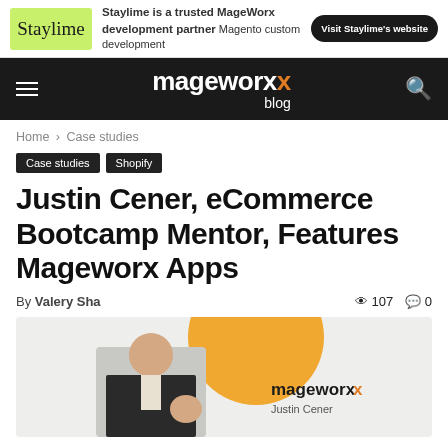[Figure (infographic): Staylime ad banner: green logo on left, text 'Staylime is a trusted MageWorx development partner / Magento custom development', black button 'Visit Staylime's website']
mageworx blog
Home › Case studies
Case studies
Shopify
Justin Cener, eCommerce Bootcamp Mentor, Features Mageworx Apps
By Valery Sha  107  0
[Figure (photo): Hero image showing a man in a suit giving thumbs up, with an orange circle in the background, mageworx logo and 'Justin Cener' caption on the right side]